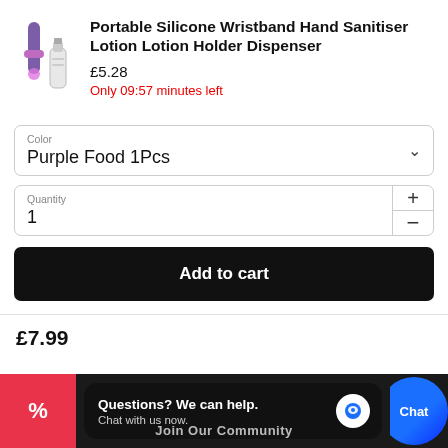[Figure (photo): Product photo: purple silicone wristband dispenser and white bottle]
Portable Silicone Wristband Hand Sanitiser Lotion Lotion Holder Dispenser
£5.28
Only 09:57 minutes left
Color
Purple Food 1Pcs
Quantity
1
Add to cart
£7.99
Questions? We can help.
Chat with us now.
Join Our Community